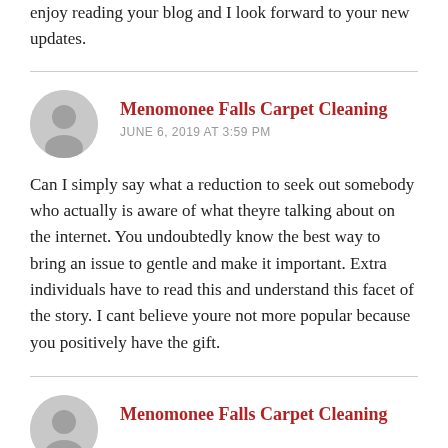enjoy reading your blog and I look forward to your new updates.
Menomonee Falls Carpet Cleaning
JUNE 6, 2019 AT 3:59 PM
Can I simply say what a reduction to seek out somebody who actually is aware of what theyre talking about on the internet. You undoubtedly know the best way to bring an issue to gentle and make it important. Extra individuals have to read this and understand this facet of the story. I cant believe youre not more popular because you positively have the gift.
Menomonee Falls Carpet Cleaning